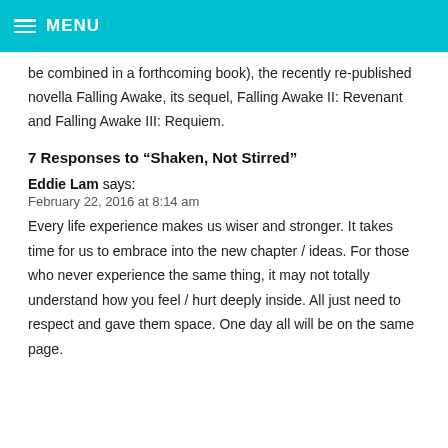MENU
be combined in a forthcoming book), the recently re-published novella Falling Awake, its sequel, Falling Awake II: Revenant and Falling Awake III: Requiem.
7 Responses to “Shaken, Not Stirred”
Eddie Lam says:
February 22, 2016 at 8:14 am
Every life experience makes us wiser and stronger. It takes time for us to embrace into the new chapter / ideas. For those who never experience the same thing, it may not totally understand how you feel / hurt deeply inside. All just need to respect and gave them space. One day all will be on the same page.